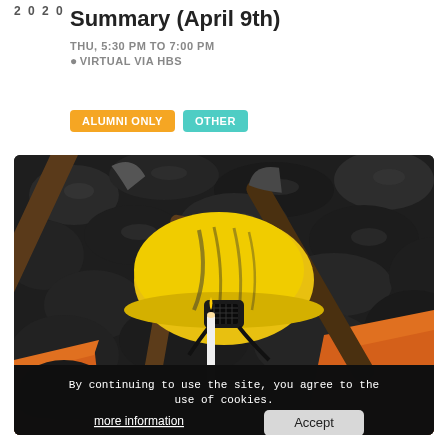2020
Summary (April 9th)
THU, 5:30 PM TO 7:00 PM
VIRTUAL VIA HBS
ALUMNI ONLY  OTHER
[Figure (photo): Mining equipment including a yellow hard hat with a lamp, pickaxes, and orange safety gear laid on a pile of coal or dark rocks. A cookie consent banner overlays the bottom of the image.]
By continuing to use the site, you agree to the use of cookies.
more information   Accept